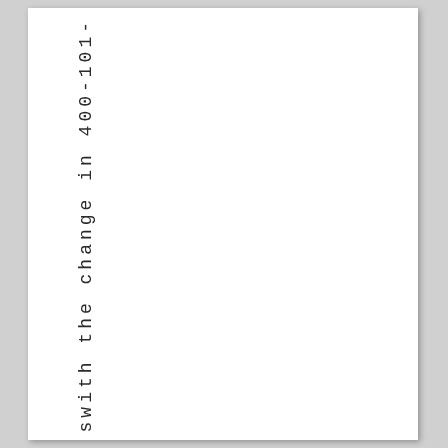s w i t h t h e c h a n g e i n 4 0 0 - 1 0 1 -